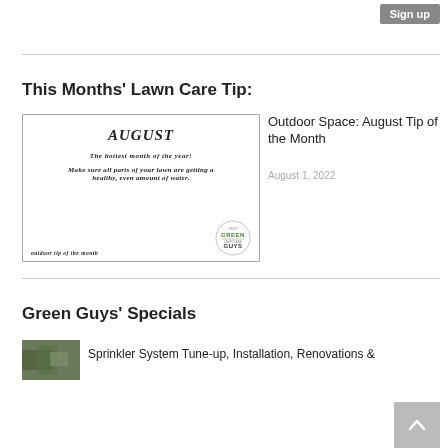Sign up
This Months' Lawn Care Tip:
[Figure (illustration): August outdoor tip of the month card. Text: AUGUST, THE HOTTEST MONTH OF THE YEAR!, MAKE SURE ALL PARTS OF YOUR LAWN ARE GETTING A HEALTHY, EVEN AMOUNT OF WATER. OUTDOOR TIP OF THE MONTH. Green Guys logo.]
Outdoor Space: August Tip of the Month
August 1, 2022
Green Guys' Specials
Sprinkler System Tune-up, Installation, Renovations &